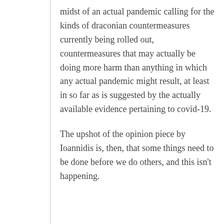midst of an actual pandemic calling for the kinds of draconian countermeasures currently being rolled out, countermeasures that may actually be doing more harm than anything in which any actual pandemic might result, at least in so far as is suggested by the actually available evidence pertaining to covid-19.
The upshot of the opinion piece by Ioannidis is, then, that some things need to be done before we do others, and this isn't happening.